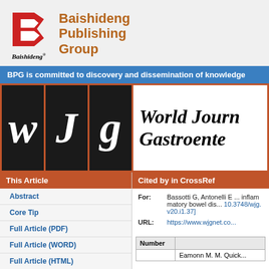[Figure (logo): Baishideng Publishing Group logo with red stylized B icon and italic Baishideng text below, with bold orange 'Baishideng Publishing Group' text to the right]
BPG is committed to discovery and dissemination of knowledge
[Figure (logo): WJG journal logo: three dark boxes with white italic W, J, G letters on orange border background, followed by 'World Journal of Gastroenter...' in bold italic]
This Article
Cited by in CrossRef
Abstract
Core Tip
Full Article (PDF)
Full Article (WORD)
Full Article (HTML)
PubMed Central
For: Bassotti G, Antonelli E ... inflammatory bowel dis... 10.3748/wjg.v20.i1.37]
URL: https://www.wjgnet.co...
| Number |  |
| --- | --- |
|  | Eamonn M. M. Quick... |